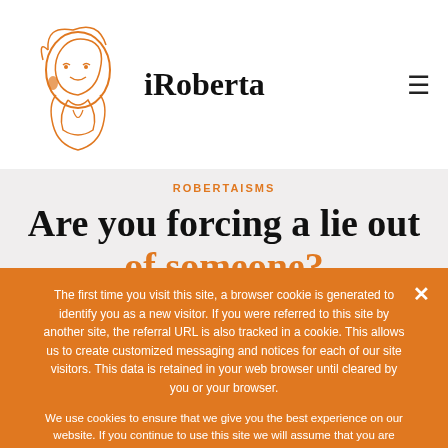iRoberta
ROBERTAISMS
Are you forcing a lie out of someone?
By B... • March 18, 2019
When you exert force (perceived or otherwise) to get an apology, you may be forcing a lie out of someone!
The first time you visit this site, a browser cookie is generated to identify you as a new visitor. If you were referred to this site by another site, the referral URL is also tracked in a cookie. This allows us to create customized messaging and notices for each of our site visitors. This data is retained in your web browser until cleared by you or your browser.
We use cookies to ensure that we give you the best experience on our website. If you continue to use this site we will assume that you are happy with it.
Ok   Privacy policy